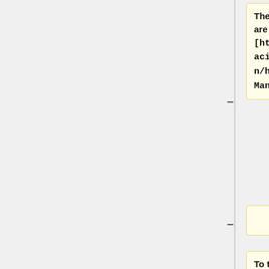The Hard Limiter controls are are described in the [http://manual.audacityteam.org/o/man/hard_limiter.html Manual].
To try and remove the clicks, set the "dB limit" in Hard Limiter to the level of the bottom of the click spike, where it protrudes above the level of the music. If some of the click remains, set the dB limit a little lower to see if it is worth losing a little of the real audio